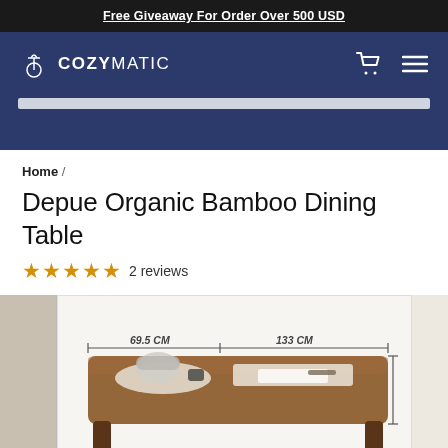Free Giveaway For Order Over 500 USD
[Figure (logo): CozyMatic logo with lamp icon and navigation bar on dark navy background]
Home /
Depue Organic Bamboo Dining Table
★★★★★ 2 reviews
[Figure (photo): Product photo of a bamboo dining table with dimensions: 69.5 CM width and 133 CM length annotated]